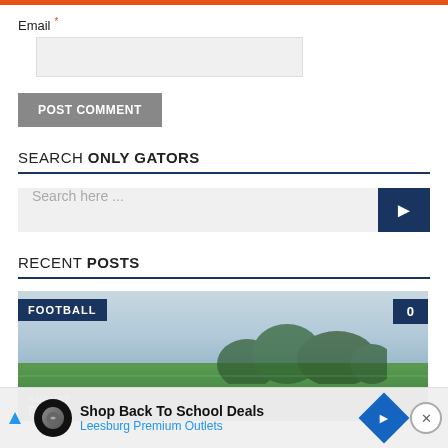Email *
POST COMMENT
SEARCH ONLY GATORS
Search here ...
RECENT POSTS
[Figure (photo): Aerial view of a football practice field with FOOTBALL badge and 0 badge overlaid. Players visible on green field with blue sky and trees in background.]
AUGUST
FLORI
Shop Back To School Deals Leesburg Premium Outlets